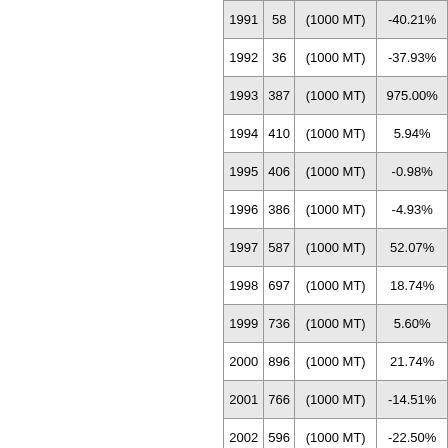| Year | Value | Unit | Change |
| --- | --- | --- | --- |
| 1991 | 58 | (1000 MT) | -40.21% |
| 1992 | 36 | (1000 MT) | -37.93% |
| 1993 | 387 | (1000 MT) | 975.00% |
| 1994 | 410 | (1000 MT) | 5.94% |
| 1995 | 406 | (1000 MT) | -0.98% |
| 1996 | 386 | (1000 MT) | -4.93% |
| 1997 | 587 | (1000 MT) | 52.07% |
| 1998 | 697 | (1000 MT) | 18.74% |
| 1999 | 736 | (1000 MT) | 5.60% |
| 2000 | 896 | (1000 MT) | 21.74% |
| 2001 | 766 | (1000 MT) | -14.51% |
| 2002 | 596 | (1000 MT) | -22.50% |